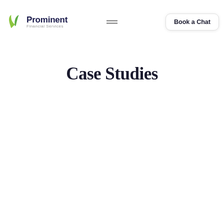Prominent Financial Services — Book a Chat
Case Studies